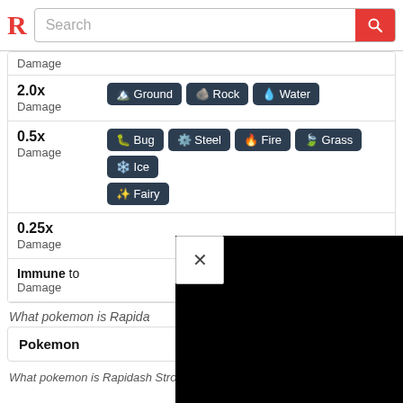R Search
| Multiplier | Types |
| --- | --- |
| 2.0x Damage | Ground, Rock, Water |
| 0.5x Damage | Bug, Steel, Fire, Grass, Ice, Fairy |
| 0.25x Damage |  |
| Immune to Damage |  |
What pokemon is Rapida...
| Pokemon | Ty... |
| --- | --- |
What pokemon is Rapidash Strong Against?